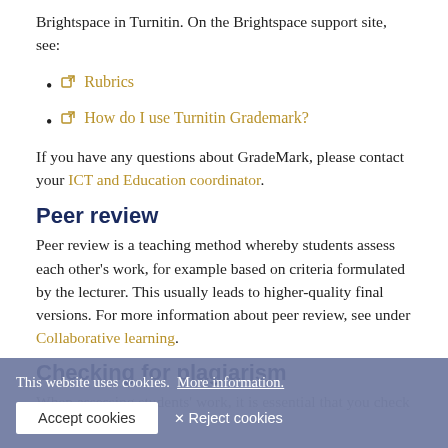Brightspace in Turnitin. On the Brightspace support site, see:
Rubrics
How do I use Turnitin Grademark?
If you have any questions about GradeMark, please contact your ICT and Education coordinator.
Peer review
Peer review is a teaching method whereby students assess each other's work, for example based on criteria formulated by the lecturer. This usually leads to higher-quality final versions. For more information about peer review, see under Collaborative learning.
Checking for plagiarism
When assessing students' work, it is essential that you check it ... other person's ... plagiarism to be every student and has therefore set out a number of